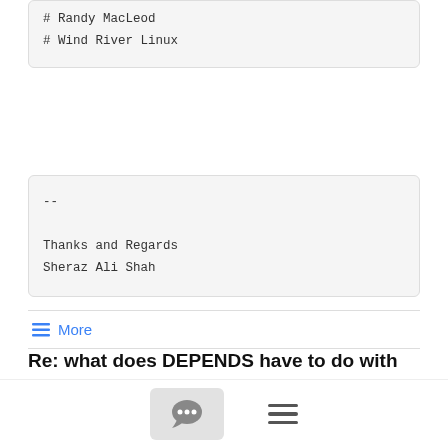# Randy MacLeod
# Wind River Linux
--
Thanks and Regards
Sheraz Ali Shah
≡ More
Re: what does DEPENDS have to do with do_build
Alexander Kanavin  1/29/20
The idea is that when a recipe build completes, you get not just the packages from that recipe, but also all packages that are in its recursive dependencies. So that you can install any package from